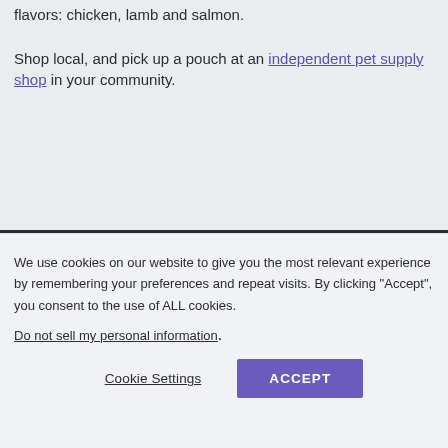flavors: chicken, lamb and salmon.

Shop local, and pick up a pouch at an independent pet supply shop in your community.
Our Food
We use cookies on our website to give you the most relevant experience by remembering your preferences and repeat visits. By clicking "Accept", you consent to the use of ALL cookies.
Do not sell my personal information.